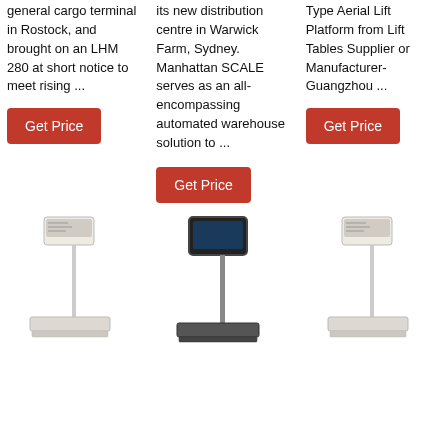general cargo terminal in Rostock, and brought on an LHM 280 at short notice to meet rising ...
its new distribution centre in Warwick Farm, Sydney. Manhattan SCALE serves as an all-encompassing automated warehouse solution to ...
Type Aerial Lift Platform from Lift Tables Supplier or Manufacturer-Guangzhou ...
Get Price
Get Price
Get Price
[Figure (photo): Platform scale with pole-mounted display unit, white/cream colored]
[Figure (photo): Platform scale with tall pole-mounted tablet display, black colored]
[Figure (photo): Platform scale with pole-mounted display unit, white/cream colored]